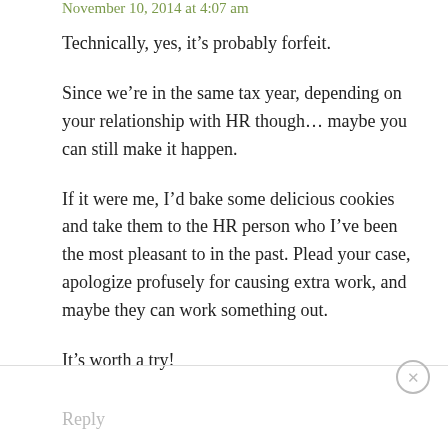November 10, 2014 at 4:07 am
Technically, yes, it’s probably forfeit.
Since we’re in the same tax year, depending on your relationship with HR though… maybe you can still make it happen.
If it were me, I’d bake some delicious cookies and take them to the HR person who I’ve been the most pleasant to in the past. Plead your case, apologize profusely for causing extra work, and maybe they can work something out.
It’s worth a try!
Reply